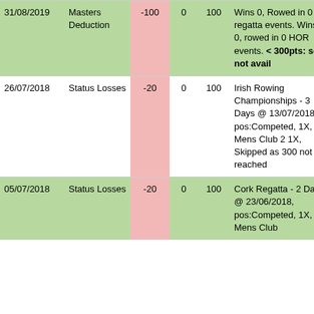| Date | Type | Points | Col3 | Col4 | Description | Col6 |
| --- | --- | --- | --- | --- | --- | --- |
| 31/08/2019 | Masters Deduction | -100 | 0 | 100 | Wins 0, Rowed in 0 regatta events. Wins 0, rowed in 0 HOR events. < 300pts: so not avail | -1 |
| 26/07/2018 | Status Losses | -20 | 0 | 100 | Irish Rowing Championships - 3 Days @ 13/07/2018, pos:Competed, 1X, Mens Club 2 1X, Skipped as 300 not reached | 0 |
| 05/07/2018 | Status Losses | -20 | 0 | 100 | Cork Regatta - 2 Days @ 23/06/2018, pos:Competed, 1X, Mens Club... | 0 |